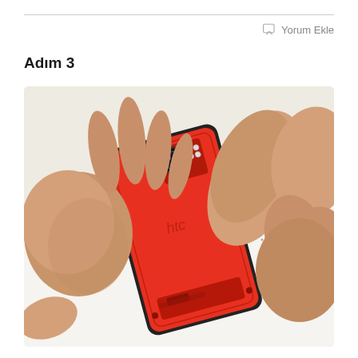Adım 3
Yorum Ekle
[Figure (photo): Two hands working on the back of a red HTC smartphone. One hand holds the phone from the left side while the other hand's thumb presses on the upper right area of the phone's back cover, appearing to remove or install it. The phone is lying face-down on a white surface.]